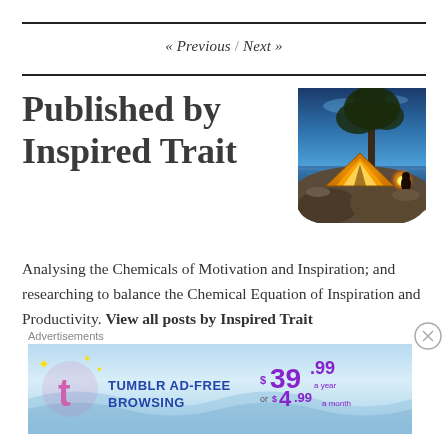« Previous / Next »
Published by Inspired Trait
[Figure (photo): A glowing orange tent under a tree by a lake at dusk with a person sitting by a campfire]
Analysing the Chemicals of Motivation and Inspiration; and researching to balance the Chemical Equation of Inspiration and Productivity. View all posts by Inspired Trait
Advertisements
[Figure (screenshot): Tumblr Ad-Free Browsing advertisement banner: $39.99 a year or $4.99 a month]